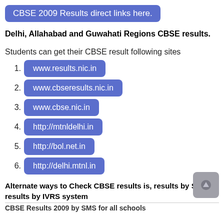CBSE 2009 Results direct links here.
Delhi, Allahabad and Guwahati Regions CBSE results.
Students can get their CBSE result following sites
www.results.nic.in
www.cbseresults.nic.in
www.cbse.nic.in
http://mtnldelhi.in
http://bol.net.in
http://delhi.mtnl.in
Alternate ways to Check CBSE results is, results by SMS results by IVRS system
CBSE Results 2009 by SMS for all schools